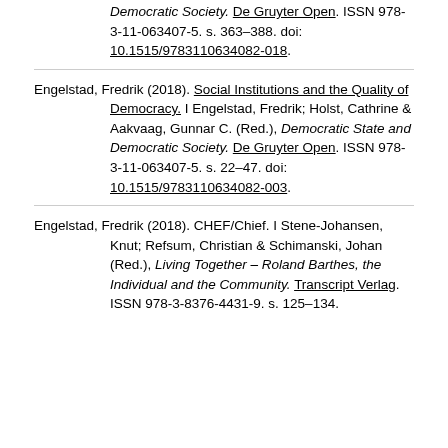Democratic Society. De Gruyter Open. ISSN 978-3-11-063407-5. s. 363–388. doi: 10.1515/9783110634082-018.
Engelstad, Fredrik (2018). Social Institutions and the Quality of Democracy. I Engelstad, Fredrik; Holst, Cathrine & Aakvaag, Gunnar C. (Red.), Democratic State and Democratic Society. De Gruyter Open. ISSN 978-3-11-063407-5. s. 22–47. doi: 10.1515/9783110634082-003.
Engelstad, Fredrik (2018). CHEF/Chief. I Stene-Johansen, Knut; Refsum, Christian & Schimanski, Johan (Red.), Living Together – Roland Barthes, the Individual and the Community. Transcript Verlag. ISSN 978-3-8376-4431-9. s. 125–134.